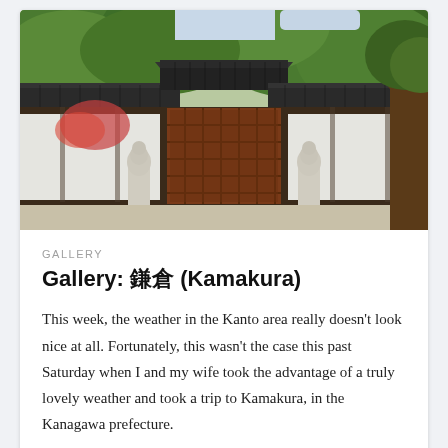[Figure (photo): Photograph of a traditional Japanese gate/entrance with dark tiled roof, wooden lattice gate, white walls, stone guardian lion statues on both sides, and lush green trees in the background]
GALLERY
Gallery: 鎌倉 (Kamakura)
This week, the weather in the Kanto area really doesn't look nice at all. Fortunately, this wasn't the case this past Saturday when I and my wife took the advantage of a truly lovely weather and took a trip to Kamakura, in the Kanagawa prefecture.
2 MIN READ